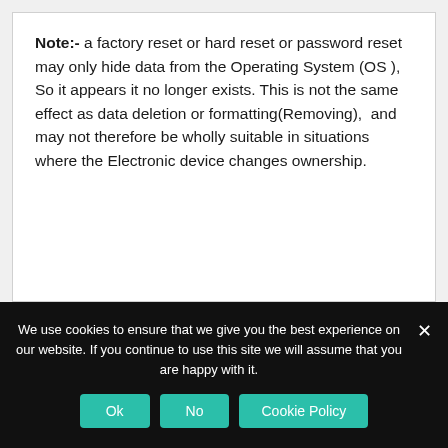Note:- a factory reset or hard reset or password reset may only hide data from the Operating System (OS ), So it appears it no longer exists. This is not the same effect as data deletion or formatting(Removing), and may not therefore be wholly suitable in situations where the Electronic device changes ownership.
We use cookies to ensure that we give you the best experience on our website. If you continue to use this site we will assume that you are happy with it.